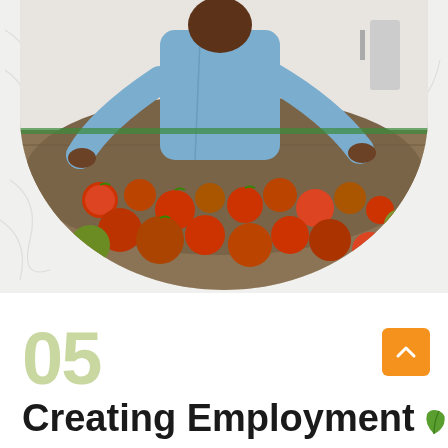[Figure (photo): A man in a blue shirt sorting/handling tomatoes on a large table or display surface. The photo is cropped in a half-ellipse/semicircle shape at the bottom. The background features a decorative floral/vine pattern.]
05
Creating Employment